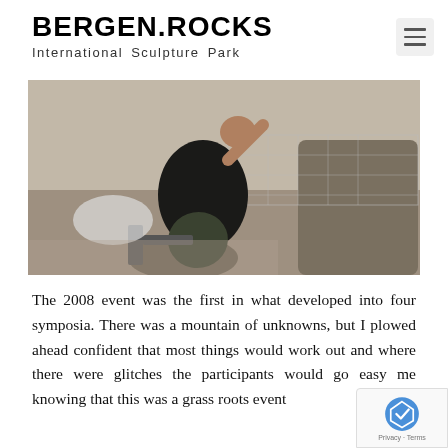BERGEN.ROCKS
International Sculpture Park
[Figure (photo): A sculptor working outdoors at a quarry or rock-cutting site, seated near large stone blocks with construction/wire fencing in the background.]
The 2008 event was the first in what developed into four symposia. There was a mountain of unknowns, but I plowed ahead confident that most things would work out and where there were glitches the participants would go easy me knowing that this was a grass roots event